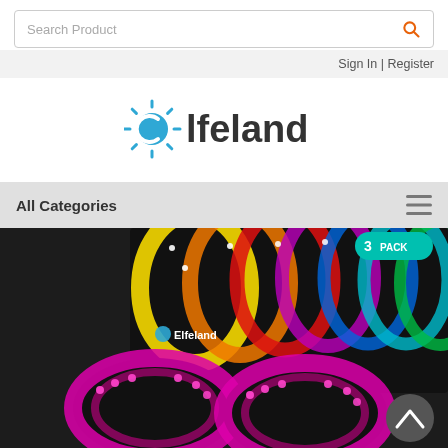Search Product
Sign In | Register
[Figure (logo): Elfeland brand logo with blue sun/gear icon and dark text]
All Categories
[Figure (photo): Elfeland LED strip lights product photo showing colorful RGB LED strips in rainbow colors with packaging box labeled 3 PACK, and two rolls of pink/magenta LED strips in foreground. Scroll-to-top arrow button visible bottom right.]